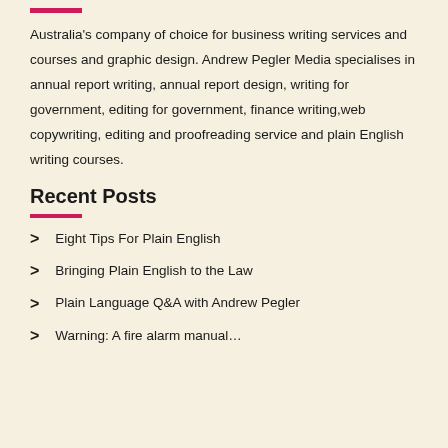Australia's company of choice for business writing services and courses and graphic design. Andrew Pegler Media specialises in annual report writing, annual report design, writing for government, editing for government, finance writing,web copywriting, editing and proofreading service and plain English writing courses.
Recent Posts
Eight Tips For Plain English
Bringing Plain English to the Law
Plain Language Q&A with Andrew Pegler
Warning: A fire alarm manual…